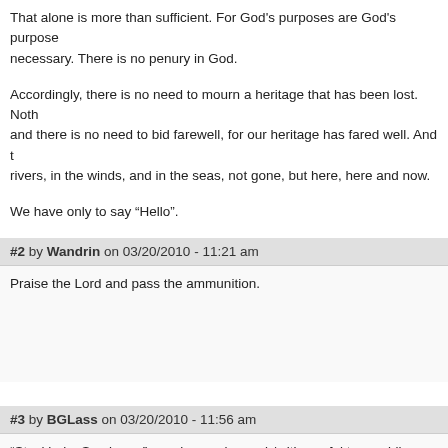That alone is more than sufficient. For God's purposes are God's purposes, sufficient and necessary. There is no penury in God.
Accordingly, there is no need to mourn a heritage that has been lost. Nothing has been lost, and there is no need to bid farewell, for our heritage has fared well. And the heritage lives in rivers, in the winds, and in the seas, not gone, but here, here and now.
We have only to say “Hello”.
#2 by Wandrin on 03/20/2010 - 11:21 am
Praise the Lord and pass the ammunition.
#3 by BGLass on 03/20/2010 - 11:56 am
“Stockholm Syndrome” may be coming up b/c it’s useful to a public trying before announcing it would take over the (with tangential business) 1/3 (n care, a multi-disciplinary assault was made, through various delivery syst Americans. This involved the redefinition of the human subject as a being diseases that can’t be cured, (as with infiltrated AA “support group” syster delivered through rehabs and thought reform programs, (some done to te abusive to the point that law suits actually saw the light of day, as in NJ, a